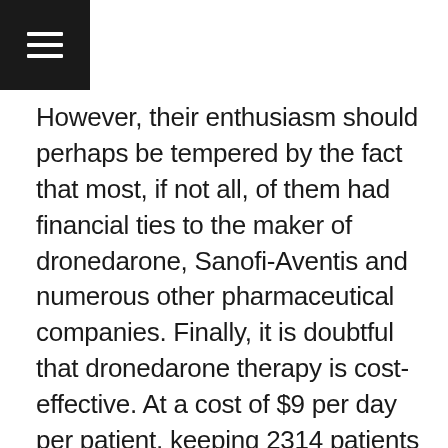However, their enthusiasm should perhaps be tempered by the fact that most, if not all, of them had financial ties to the maker of dronedarone, Sanofi-Aventis and numerous other pharmaceutical companies. Finally, it is doubtful that dronedarone therapy is cost-effective. At a cost of $9 per day per patient, keeping 2314 patients on dronedarone for 21 months would cost $13,303,000. Doing so would avoid 184 hospital admissions. In other words, the cost of avoiding one hospital admission through the use of dronedarone would be $72,300 – hardly a bargain!